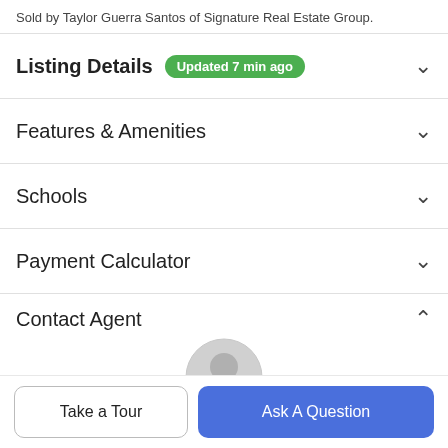Sold by Taylor Guerra Santos of Signature Real Estate Group.
Listing Details Updated 7 min ago
Features & Amenities
Schools
Payment Calculator
Contact Agent
[Figure (illustration): Gray circular user avatar icon]
Take a Tour
Ask A Question